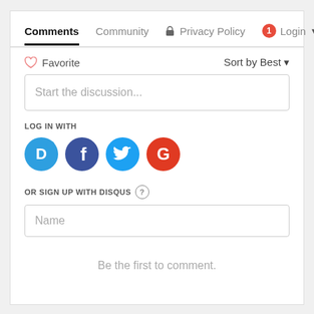Comments  Community  Privacy Policy  Login
Favorite   Sort by Best
Start the discussion...
LOG IN WITH
[Figure (logo): Social login icons: Disqus (blue D), Facebook (dark blue f), Twitter (light blue bird), Google (red G)]
OR SIGN UP WITH DISQUS ?
Name
Be the first to comment.